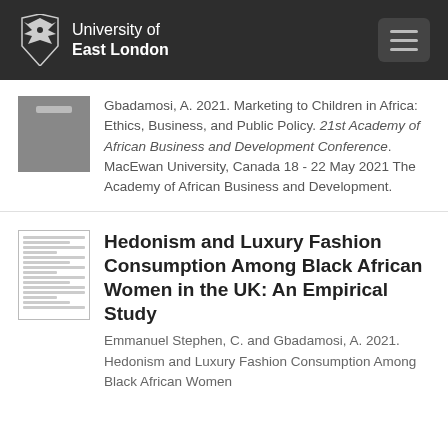University of East London
Gbadamosi, A. 2021. Marketing to Children in Africa: Ethics, Business, and Public Policy. 21st Academy of African Business and Development Conference. MacEwan University, Canada 18 - 22 May 2021 The Academy of African Business and Development.
Hedonism and Luxury Fashion Consumption Among Black African Women in the UK: An Empirical Study
Emmanuel Stephen, C. and Gbadamosi, A. 2021. Hedonism and Luxury Fashion Consumption Among Black African Women